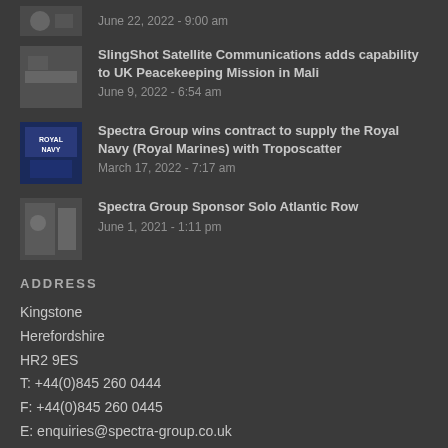June 22, 2022 - 9:00 am
SlingShot Satellite Communications adds capability to UK Peacekeeping Mission in Mali
June 9, 2022 - 6:54 am
Spectra Group wins contract to supply the Royal Navy (Royal Marines) with Troposcatter
March 17, 2022 - 7:17 am
Spectra Group Sponsor Solo Atlantic Row
June 1, 2021 - 1:11 pm
ADDRESS
Kingstone
Herefordshire
HR2 9ES
T: +44(0)845 260 0444
F: +44(0)845 260 0445
E: enquiries@spectra-group.co.uk